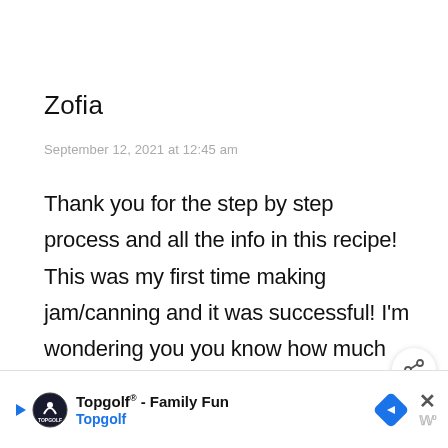Zofia
September 12, 2021 at 12:45 am
Thank you for the step by step process and all the info in this recipe! This was my first time making jam/canning and it was successful! I'm wondering you you know how much weight in y you use AFTER you've peeled and cored
[Figure (other): Share button (arrow icon) floating on right side]
[Figure (other): What's Next widget showing Cold Hardy Vegetables thumbnail with label 'WHAT'S NEXT → Cold Hardy Vegetables f...']
[Figure (other): Advertisement banner for Topgolf® - Family Fun with Topgolf logo, navigation icon, close button, and media controls]